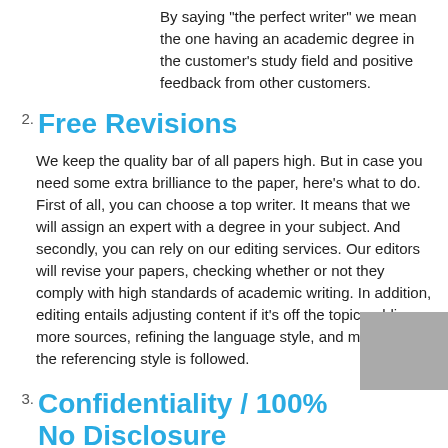By saying "the perfect writer" we mean the one having an academic degree in the customer's study field and positive feedback from other customers.
2. Free Revisions
We keep the quality bar of all papers high. But in case you need some extra brilliance to the paper, here's what to do. First of all, you can choose a top writer. It means that we will assign an expert with a degree in your subject. And secondly, you can rely on our editing services. Our editors will revise your papers, checking whether or not they comply with high standards of academic writing. In addition, editing entails adjusting content if it's off the topic, adding more sources, refining the language style, and making sure the referencing style is followed.
3. Confidentiality / 100% No Disclosure